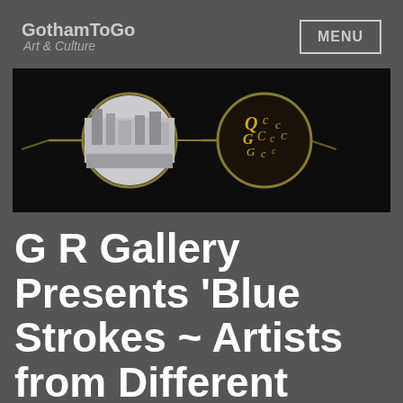GothamToGo Art & Culture
[Figure (photo): A pair of round wire-frame glasses on a dark background. The left lens reflects a black-and-white city scene; the right lens contains gold-colored decorative script or lettering elements.]
G R Gallery Presents 'Blue Strokes ~ Artists from Different States in